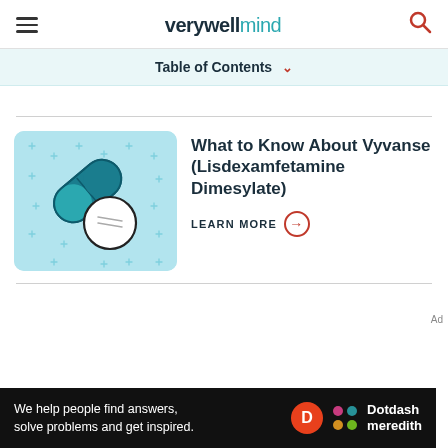verywell mind
Table of Contents
[Figure (illustration): Illustration of a teal capsule pill and a white round pill on a light blue background with plus/cross pattern]
What to Know About Vyvanse (Lisdexamfetamine Dimesylate)
LEARN MORE
[Figure (logo): Dotdash Meredith advertisement banner with text: We help people find answers, solve problems and get inspired.]